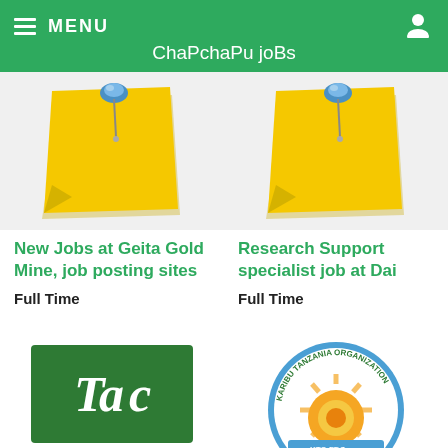MENU  ChaPchaPu joBs
[Figure (illustration): Yellow sticky note with blue pushpin, left card]
New Jobs at Geita Gold Mine, job posting sites
Full Time
[Figure (illustration): Yellow sticky note with blue pushpin, right card]
Research Support specialist job at Dai
Full Time
[Figure (logo): Taic logo - green rectangle with white italic text 'Taic' and a dot inside the 'i']
[Figure (logo): Karibu Tanzania Organization badge/seal with KTO FDC and Adult Education text]